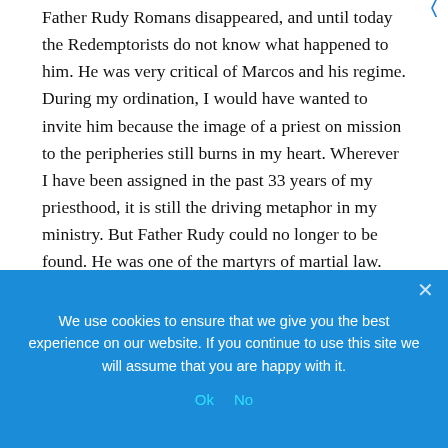Father Rudy Romans disappeared, and until today the Redemptorists do not know what happened to him. He was very critical of Marcos and his regime. During my ordination, I would have wanted to invite him because the image of a priest on mission to the peripheries still burns in my heart. Wherever I have been assigned in the past 33 years of my priesthood, it is still the driving metaphor in my ministry. But Father Rudy could no longer to be found. He was one of the martyrs of martial law.
He was not alone. There were many others and their families can tell us their stories of pain and suffering. If you think martial law was the golden years of Philippine history, listen
We use cookies to ensure that we give you the best experience on our website. If you continue to use this site we will assume that you are happy with it.
Ok
No